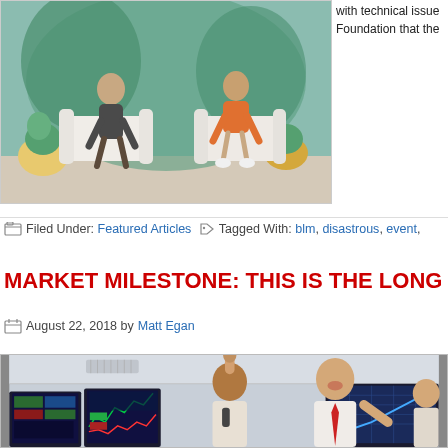[Figure (photo): Two people sitting on chairs in a living room-style studio setting]
with technical issue... Foundation that the...
Filed Under: Featured Articles   Tagged With: blm, disastrous, event,
MARKET MILESTONE: THIS IS THE LONG...
August 22, 2018 by Matt Egan
[Figure (photo): Excited traders celebrating at computer trading screens in an office]